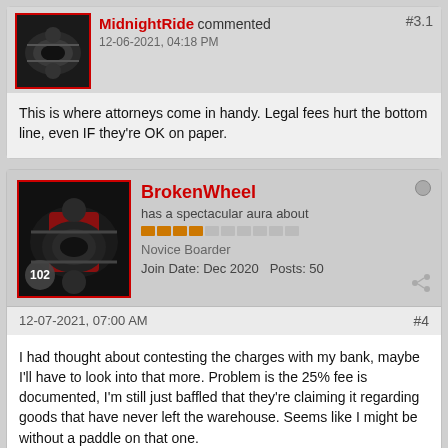MidnightRide commented #3.1 12-06-2021, 04:18 PM
This is where attorneys come in handy. Legal fees hurt the bottom line, even IF they're OK on paper.
BrokenWheel has a spectacular aura about Novice Boarder Join Date: Dec 2020 Posts: 50
12-07-2021, 07:00 AM #4
I had thought about contesting the charges with my bank, maybe I'll have to look into that more. Problem is the 25% fee is documented, I'm still just baffled that they're claiming it regarding goods that have never left the warehouse. Seems like I might be without a paddle on that one.
Either way, I'll take this as my hard learned lesson to find things that are currently in stock for the foreseeable future. 5° F here yesterday morning and a heated garage sure did sound nice to park in.
1 comment